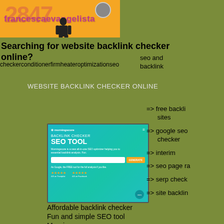[Figure (screenshot): Blog header image with orange background, decorative text '2847', brand name 'francescaevangelista', a small avatar icon, and silhouette of person]
Searching for website backlink checker online?
checkerconditionerfirmheateroptimizationseo   seo and backlink   tanklesstestvpn
WEBSITE BACKLINK CHECKER ONLINE
[Figure (screenshot): Screenshot of Morningscore website showing a Backlink Checker SEO Tool page with teal background, input field, generate button, star ratings]
Affordable backlink checker Fun and simple SEO tool Morningscore
=>  free backlink sites
=>  google seo checker
=>  interim
=>  seo page ra
=>  serp check
=>  site backlin